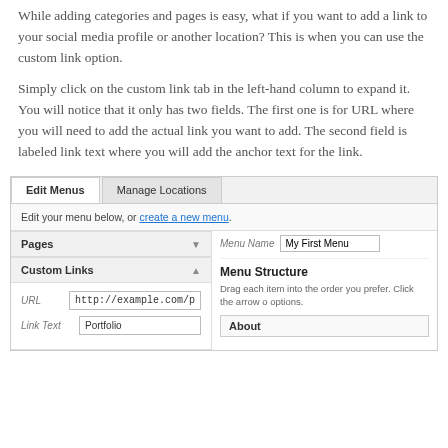While adding categories and pages is easy, what if you want to add a link to your social media profile or another location? This is when you can use the custom link option.
Simply click on the custom link tab in the left-hand column to expand it. You will notice that it only has two fields. The first one is for URL where you will need to add the actual link you want to add. The second field is labeled link text where you will add the anchor text for the link.
[Figure (screenshot): WordPress menu editor screenshot showing Edit Menus and Manage Locations tabs, a custom link panel with URL (http://example.com/p) and Link Text (Portfolio) fields on the left, and Menu Name (My First Menu), Menu Structure section with About item on the right.]